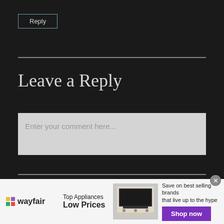Reply
Leave a Reply
Enter your comment here...
[Figure (other): Wayfair advertisement banner with logo, 'Top Appliances Low Prices' text, an image of a stove/range appliance, and a 'Shop now' purple button with text 'Save on best selling brands that live up to the hype']